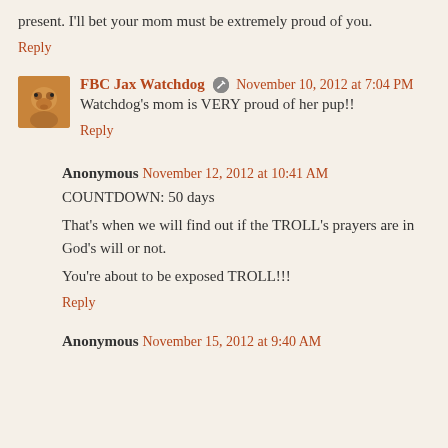present. I'll bet your mom must be extremely proud of you.
Reply
FBC Jax Watchdog  [edit icon]  November 10, 2012 at 7:04 PM
Watchdog's mom is VERY proud of her pup!!
Reply
Anonymous  November 12, 2012 at 10:41 AM
COUNTDOWN: 50 days

That's when we will find out if the TROLL's prayers are in God's will or not.

You're about to be exposed TROLL!!!
Reply
Anonymous  November 15, 2012 at 9:40 AM